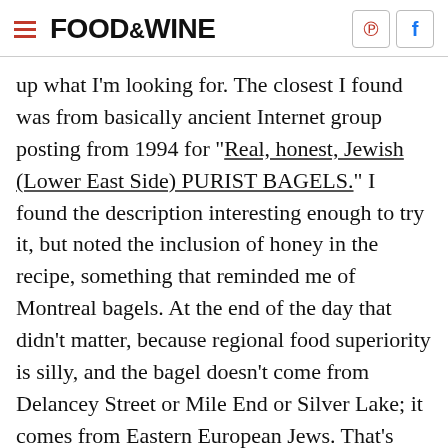FOOD & WINE
up what I'm looking for. The closest I found was from basically ancient Internet group posting from 1994 for "Real, honest, Jewish (Lower East Side) PURIST BAGELS." I found the description interesting enough to try it, but noted the inclusion of honey in the recipe, something that reminded me of Montreal bagels. At the end of the day that didn't matter, because regional food superiority is silly, and the bagel doesn't come from Delancey Street or Mile End or Silver Lake; it comes from Eastern European Jews. That's what my little quest is really about. Trying to make a great bagel for myself that pays some tribute to where my family comes from. I love bagels because they're delicious carb bombs, but I